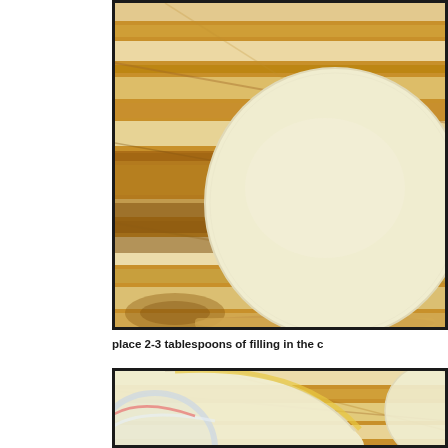[Figure (photo): A round flat dough disc placed on a wooden cutting board with light and dark wood grain stripes. The dough is pale cream/yellow colored and circular, positioned toward the upper right of the frame.]
place 2-3 tablespoons of filling in the c
[Figure (photo): A wooden cutting board showing the edge of a dough disc at top left, with a glass bowl partially visible at lower left. The wood grain pattern is similar to the top photo.]